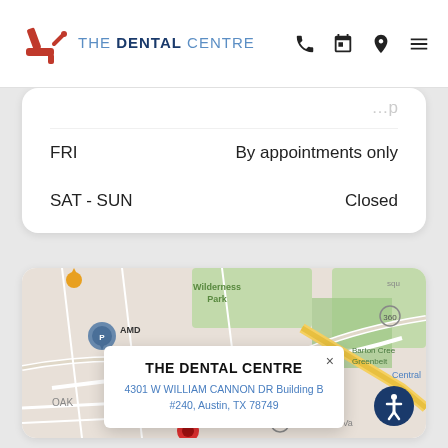[Figure (logo): The Dental Centre logo with red dental chair icon and blue text]
| Day | Hours |
| --- | --- |
| FRI | By appointments only |
| SAT - SUN | Closed |
[Figure (map): Google Maps screenshot showing Austin TX area near AMD Southwest Pkwy, with The Dental Centre info popup showing address 4301 W William Cannon DR Building B #240, Austin, TX 78749. Map shows Wilderness Park, Barton Creek Greenbelt, and route 360.]